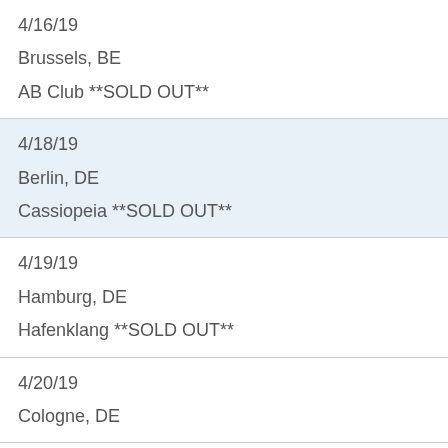4/16/19
Brussels, BE
AB Club **SOLD OUT**
4/18/19
Berlin, DE
Cassiopeia **SOLD OUT**
4/19/19
Hamburg, DE
Hafenklang **SOLD OUT**
4/20/19
Cologne, DE